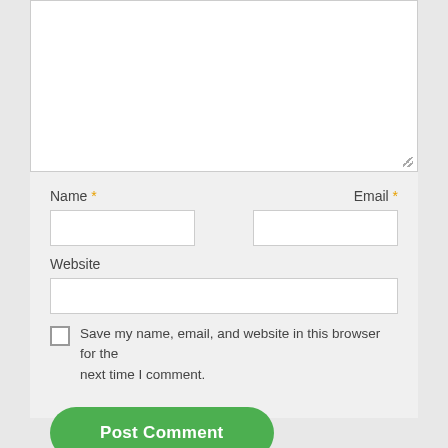[Figure (screenshot): A web comment form showing a textarea at the top, Name and Email fields side by side with orange asterisks indicating required fields, a Website field spanning full width, a checkbox with label 'Save my name, email, and website in this browser for the next time I comment.', and a green rounded 'Post Comment' button.]
Name *
Email *
Website
Save my name, email, and website in this browser for the next time I comment.
Post Comment